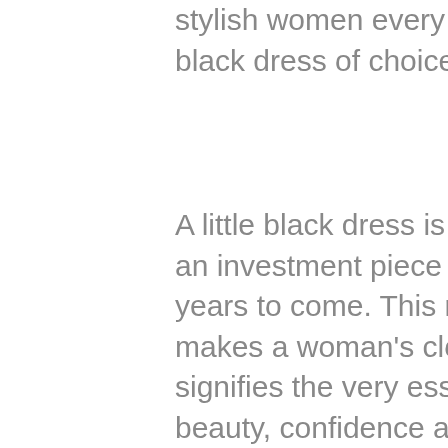stylish women every single time you don your little black dress of choice.
A little black dress is timeless. It's always in style. It's an investment piece that will hold you in good stead for years to come. This much-coveted closet piece is what makes a woman's closet, and more often than not it signifies the very essence and elegance of a woman's beauty, confidence and style-savvy. These are precisely the reasons why this closet piece is so iconic. By owning a little black dress that you can call your own, you are becoming part of the LBDs storied and continuing history.